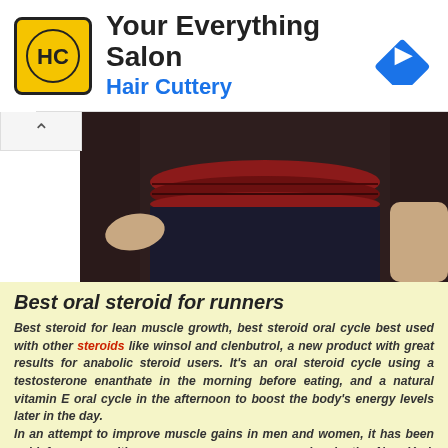[Figure (logo): Hair Cuttery salon advertisement banner with HC logo, 'Your Everything Salon' title, 'Hair Cuttery' subtitle in blue, and a blue navigation diamond arrow icon on the right]
[Figure (photo): Cropped photo of a person's torso in a dark sports outfit with a red waistband, with arms visible on either side]
Best oral steroid for runners
Best steroid for lean muscle growth, best steroid oral cycle best used with other steroids like winsol and clenbutrol, a new product with great results for anabolic steroid users. It's an oral steroid cycle using a testosterone enanthate in the morning before eating, and a natural vitamin E oral cycle in the afternoon to boost the body's energy levels later in the day.
In an attempt to improve muscle gains in men and women, it has been sold for years with some success, even appearing in the New York Times and